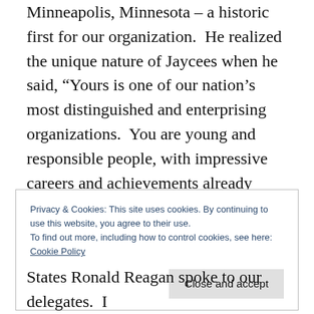Minneapolis, Minnesota – a historic first for our organization.  He realized the unique nature of Jaycees when he said, “Yours is one of our nation’s most distinguished and enterprising organizations.  You are young and responsible people, with impressive careers and achievements already recorded to your credit.  Because you are both young and responsible, you know what is your greatest responsibility of all – Tomorrow.”
Privacy & Cookies: This site uses cookies. By continuing to use this website, you agree to their use.
To find out more, including how to control cookies, see here:
Cookie Policy
Close and accept
States Ronald Reagan spoke to our delegates.  I